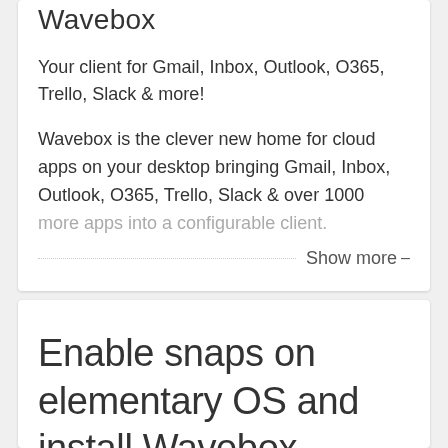Wavebox
Your client for Gmail, Inbox, Outlook, O365, Trello, Slack & more!
Wavebox is the clever new home for cloud apps on your desktop bringing Gmail, Inbox, Outlook, O365, Trello, Slack & over 1000 more apps into a configurable client.
Show more
Enable snaps on elementary OS and install Wavebox